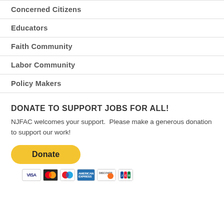Concerned Citizens
Educators
Faith Community
Labor Community
Policy Makers
DONATE TO SUPPORT JOBS FOR ALL!
NJFAC welcomes your support.  Please make a generous donation to support our work!
[Figure (other): PayPal Donate button (yellow rounded rectangle with bold text 'Donate') followed by payment card icons: VISA, Mastercard, Maestro, American Express, Discover, JCB]